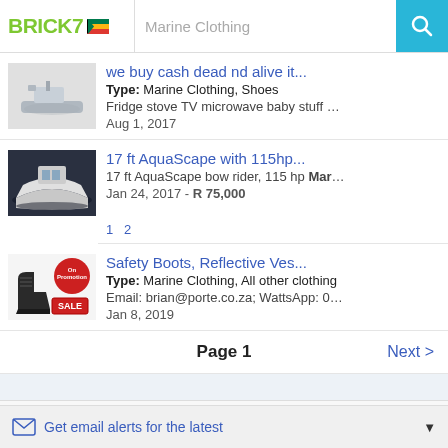BRICK7 | Marine Clothing
we buy cash dead nd alive it... | Type: Marine Clothing, Shoes | Fridge stove TV microwave baby stuff kitchen stuff pot gla... | Aug 1, 2017
17 ft AquaScape with 115hp... | 17 ft AquaScape bow rider, 115 hp Mariner Saltwater mo... | Jan 24, 2017 - R 75,000
Safety Boots, Reflective Ves... | Type: Marine Clothing, All other clothing | Email: brian@porte.co.za; WattsApp: 0810056006; Tel: 07... | Jan 8, 2019
Page 1
Next >
Get email alerts for the latest